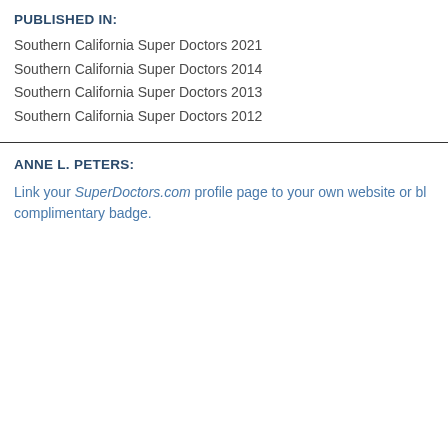PUBLISHED IN:
Southern California Super Doctors 2021
Southern California Super Doctors 2014
Southern California Super Doctors 2013
Southern California Super Doctors 2012
ANNE L. PETERS:
Link your SuperDoctors.com profile page to your own website or bl complimentary badge.